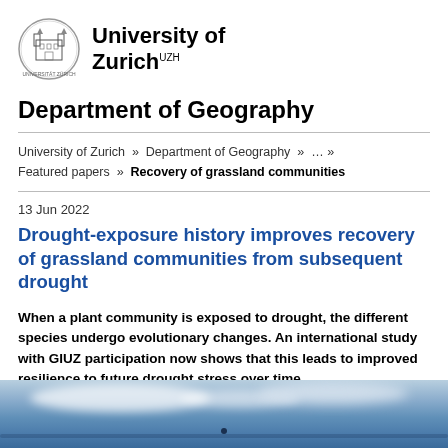[Figure (logo): University of Zurich circular seal logo with building illustration]
University of Zurich UZH
Department of Geography
University of Zurich » Department of Geography » … » Featured papers » Recovery of grassland communities
13 Jun 2022
Drought-exposure history improves recovery of grassland communities from subsequent drought
When a plant community is exposed to drought, the different species undergo evolutionary changes. An international study with GIUZ participation now shows that this leads to improved resilience to future drought stress over time.
[Figure (photo): Wide landscape photo showing a sky with clouds over a body of water, horizon visible, small dark object near center bottom]